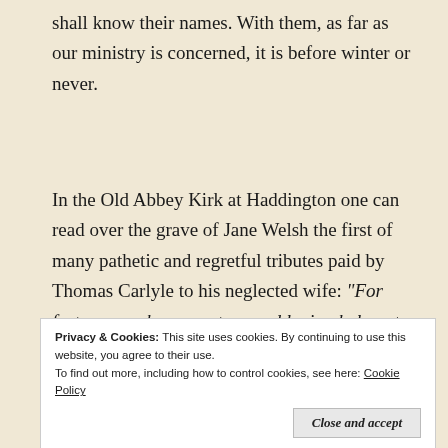shall know their names. With them, as far as our ministry is concerned, it is before winter or never.
In the Old Abbey Kirk at Haddington one can read over the grave of Jane Welsh the first of many pathetic and regretful tributes paid by Thomas Carlyle to his neglected wife: “For forty years she was a true and loving helpmate of her husband, and by act and word worthily forwarded
Privacy & Cookies: This site uses cookies. By continuing to use this website, you agree to their use.
To find out more, including how to control cookies, see here: Cookie Policy
Close and accept
written by Carlyle in his diary, “Oh, that I had you yet for five